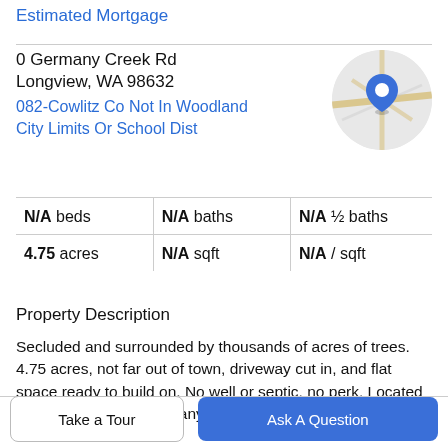Estimated Mortgage
0 Germany Creek Rd
Longview, WA 98632
082-Cowlitz Co Not In Woodland City Limits Or School Dist
[Figure (map): Circular map thumbnail showing road intersections with a blue location pin in the center.]
| Beds | Baths | ½ baths |
| --- | --- | --- |
| N/A beds | N/A baths | N/A ½ baths |
| 4.75 acres | N/A sqft | N/A / sqft |
Property Description
Secluded and surrounded by thousands of acres of trees. 4.75 acres, not far out of town, driveway cut in, and flat space ready to build on. No well or septic, no perk. Located across from 2443 Germany Creek road.
Take a Tour
Ask A Question